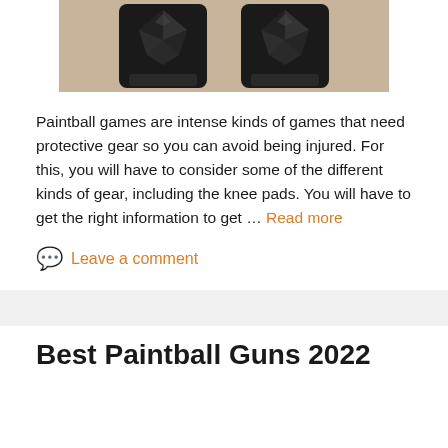[Figure (photo): Two black paintball knee pads photographed on a wooden surface, viewed from above]
Paintball games are intense kinds of games that need protective gear so you can avoid being injured. For this, you will have to consider some of the different kinds of gear, including the knee pads. You will have to get the right information to get … Read more
Leave a comment
Best Paintball Guns 2022